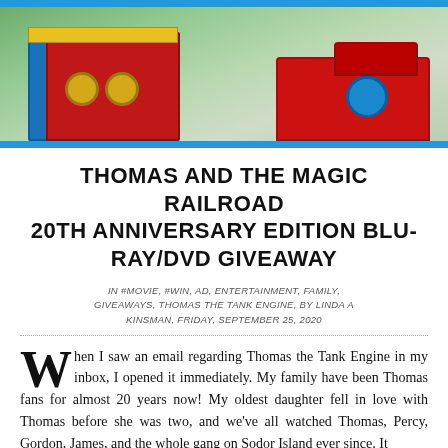[Figure (photo): Blu-ray/DVD box set of Thomas and the Magic Railroad with toy trains on a green background, with blue border at top and bottom]
THOMAS AND THE MAGIC RAILROAD 20TH ANNIVERSARY EDITION BLU-RAY/DVD GIVEAWAY
IN #MOVIE, #WIN, AD, ENTERTAINMENT, FAMILY, GIVEAWAYS, THOMAS THE TANK ENGINE, BY LINDA A KINSMAN, FRIDAY, SEPTEMBER 25, 2020
When I saw an email regarding Thomas the Tank Engine in my inbox, I opened it immediately. My family have been Thomas fans for almost 20 years now! My oldest daughter fell in love with Thomas before she was two, and we've all watched Thomas, Percy, Gordon, James, and the whole gang on Sodor Island ever since. It